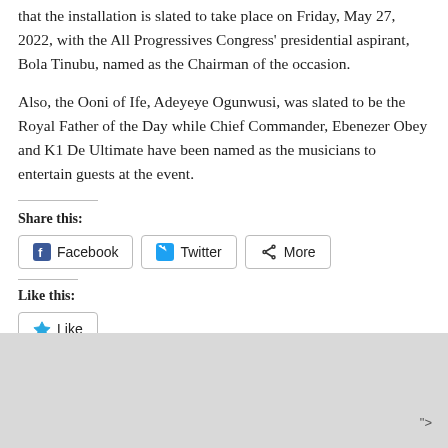that the installation is slated to take place on Friday, May 27, 2022, with the All Progressives Congress' presidential aspirant, Bola Tinubu, named as the Chairman of the occasion.
Also, the Ooni of Ife, Adeyeye Ogunwusi, was slated to be the Royal Father of the Day while Chief Commander, Ebenezer Obey and K1 De Ultimate have been named as the musicians to entertain guests at the event.
Share this:
Facebook   Twitter   More
Like this:
Like
">